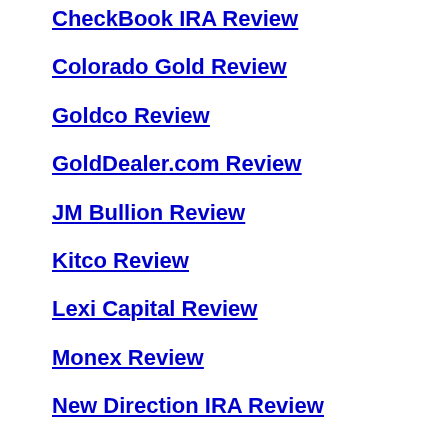CheckBook IRA Review
Colorado Gold Review
Goldco Review
GoldDealer.com Review
JM Bullion Review
Kitco Review
Lexi Capital Review
Monex Review
New Direction IRA Review